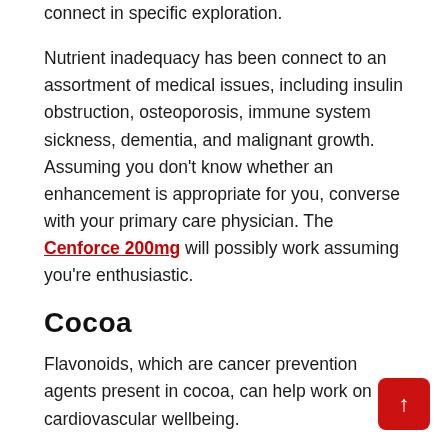connect in specific exploration.
Nutrient inadequacy has been connect to an assortment of medical issues, including insulin obstruction, osteoporosis, immune system sickness, dementia, and malignant growth. Assuming you don't know whether an enhancement is appropriate for you, converse with your primary care physician. The Cenforce 200mg will possibly work assuming you're enthusiastic.
Cocoa
Flavonoids, which are cancer prevention agents present in cocoa, can help work on cardiovascular wellbeing.
This, thus, raises blood supply and gas levels in the blood,